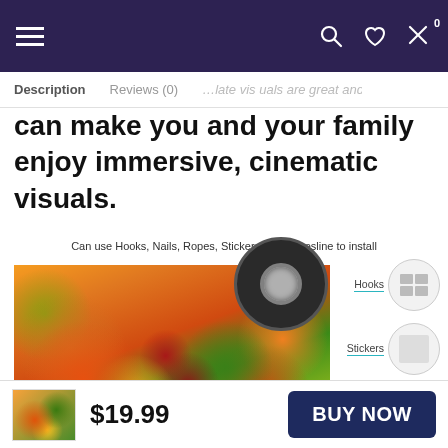Navigation header with hamburger menu, search, wishlist, and cart icons
Description   Reviews (0)
can make you and your family enjoy immersive, cinematic visuals.
Can use Hooks, Nails, Ropes, Stickers, or Clothesline to install
[Figure (photo): Projection screen displaying colorful fruit image with eyelet/grommet detail shown in circle callout. Right side shows installation options: Hooks, Stickers, Ropes with circular icon indicators.]
$19.99
BUY NOW